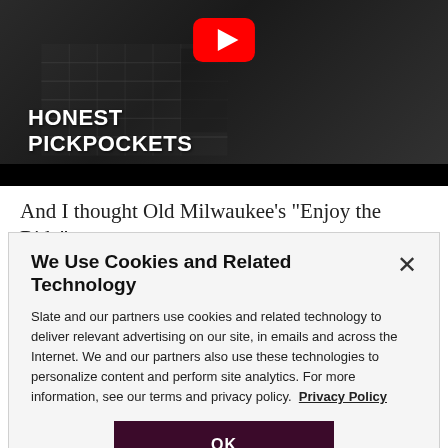[Figure (screenshot): YouTube video thumbnail showing black and white street scene with YouTube play button icon and text 'HONEST PICKPOCKETS']
And I thought Old Milwaukee's “Enjoy the Ride” spot
We Use Cookies and Related Technology

Slate and our partners use cookies and related technology to deliver relevant advertising on our site, in emails and across the Internet. We and our partners also use these technologies to personalize content and perform site analytics. For more information, see our terms and privacy policy. Privacy Policy

OK